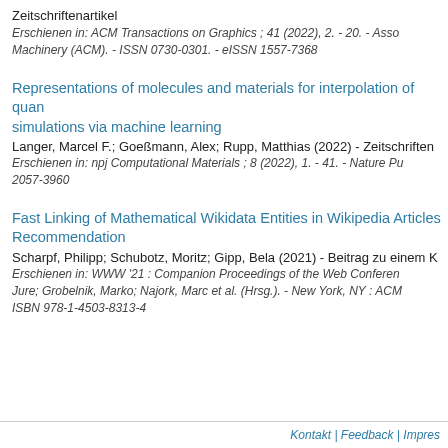Zeitschriftenartikel
Erschienen in: ACM Transactions on Graphics ; 41 (2022), 2. - 20. - Association for Computing Machinery (ACM). - ISSN 0730-0301. - eISSN 1557-7368
Representations of molecules and materials for interpolation of quantum-mechanical simulations via machine learning
Langer, Marcel F.; Goeßmann, Alex; Rupp, Matthias (2022) - Zeitschriftenartikel
Erschienen in: npj Computational Materials ; 8 (2022), 1. - 41. - Nature Publishing Group. - ISSN 2057-3960
Fast Linking of Mathematical Wikidata Entities in Wikipedia Articles via Recommendation
Scharpf, Philipp; Schubotz, Moritz; Gipp, Bela (2021) - Beitrag zu einem Konferenzband
Erschienen in: WWW '21 : Companion Proceedings of the Web Conference 2021 / Leskovec, Jure; Grobelnik, Marko; Najork, Marc et al. (Hrsg.). - New York, NY : ACM. - ISBN 978-1-4503-8313-4
Kontakt | Feedback | Impres...